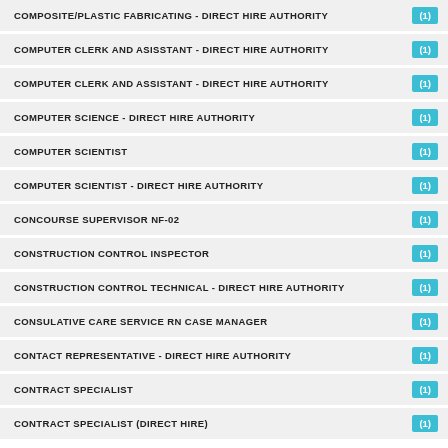COMPOSITE/PLASTIC FABRICATING - DIRECT HIRE AUTHORITY (1)
COMPUTER CLERK AND ASISSTANT - DIRECT HIRE AUTHORITY (1)
COMPUTER CLERK AND ASSISTANT - DIRECT HIRE AUTHORITY (1)
COMPUTER SCIENCE - DIRECT HIRE AUTHORITY (1)
COMPUTER SCIENTIST (1)
COMPUTER SCIENTIST - DIRECT HIRE AUTHORITY (1)
CONCOURSE SUPERVISOR NF-02 (1)
CONSTRUCTION CONTROL INSPECTOR (1)
CONSTRUCTION CONTROL TECHNICAL - DIRECT HIRE AUTHORITY (1)
CONSULATIVE CARE SERVICE RN CASE MANAGER (1)
CONTACT REPRESENTATIVE - DIRECT HIRE AUTHORITY (1)
CONTRACT SPECIALIST (1)
CONTRACT SPECIALIST (DIRECT HIRE) (1)